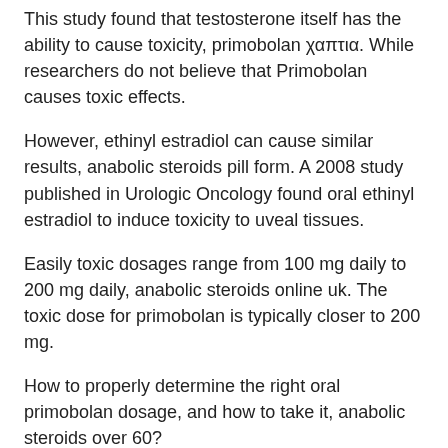This study found that testosterone itself has the ability to cause toxicity, primobolan χαπτια. While researchers do not believe that Primobolan causes toxic effects.
However, ethinyl estradiol can cause similar results, anabolic steroids pill form. A 2008 study published in Urologic Oncology found oral ethinyl estradiol to induce toxicity to uveal tissues.
Easily toxic dosages range from 100 mg daily to 200 mg daily, anabolic steroids online uk. The toxic dose for primobolan is typically closer to 200 mg.
How to properly determine the right oral primobolan dosage, and how to take it, anabolic steroids over 60?
Eligible users should carefully research oral primobolan and other oral steroids to…